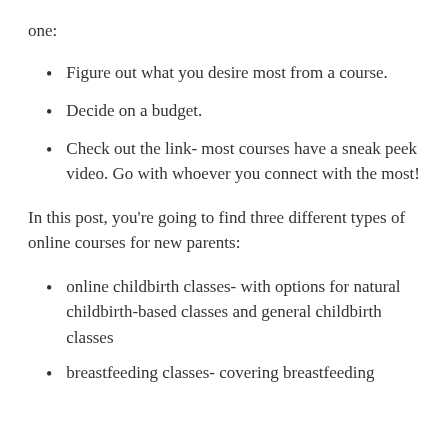one:
Figure out what you desire most from a course.
Decide on a budget.
Check out the link- most courses have a sneak peek video. Go with whoever you connect with the most!
In this post, you’re going to find three different types of online courses for new parents:
online childbirth classes- with options for natural childbirth-based classes and general childbirth classes
breastfeeding classes- covering breastfeeding